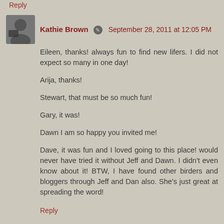Reply
Kathie Brown  September 28, 2011 at 12:05 PM
Eileen, thanks! always fun to find new lifers. I did not expect so many in one day!

Arija, thanks!

Stewart, that must be so much fun!

Gary, it was!

Dawn I am so happy you invited me!

Dave, it was fun and I loved going to this place! would never have tried it without Jeff and Dawn. I didn't even know about it! BTW, I have found other birders and bloggers through Jeff and Dan also. She's just great at spreading the word!
Reply